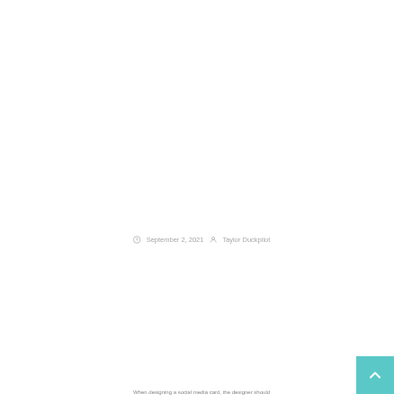September 2, 2021  Taylor Duckpilot
When designing a social media card, the designer should...